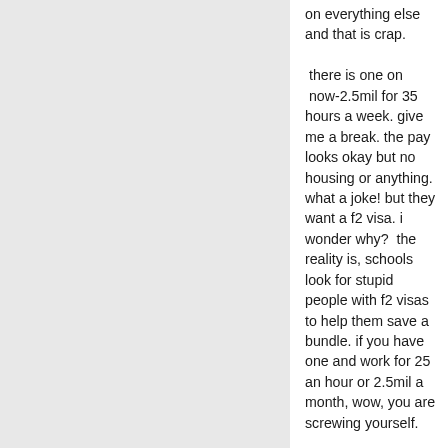on everything else and that is crap.

 there is one on  now-2.5mil for 35 hours a week. give me a break. the pay looks okay but no housing or anything. what a joke! but they want a f2 visa. i wonder why?  the reality is, schools look for stupid people with f2 visas to help them save a bundle. if you have one and work for 25 an hour or 2.5mil a month, wow, you are screwing yourself.

So like it or not, f2 visa holders should be ASKING for more money because of that. schools save a bundle off of us so we should, if you have any kind of business mind, reap some of that reward. we do